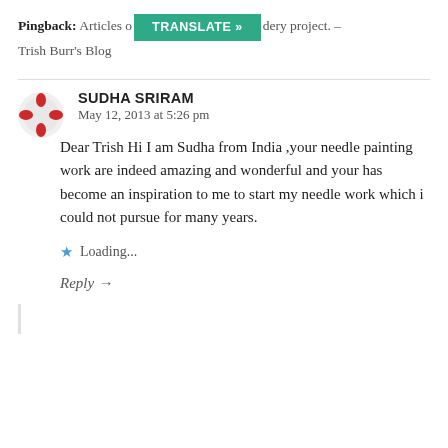Pingback: Articles o... dery project. – Trish Burr's Blog
SUDHA SRIRAM
May 12, 2013 at 5:26 pm
Dear Trish Hi I am Sudha from India ,your needle painting work are indeed amazing and wonderful and your has become an inspiration to me to start my needle work which i could not pursue for many years.
Loading...
Reply →